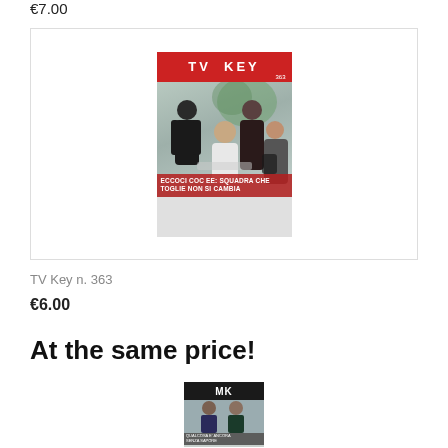€7.00
[Figure (photo): TV Key magazine cover issue 363 with four people on the cover and red banner reading ECCOCI COC EE: SQUADRA CHE TOGLIE NON SI CAMBIA]
TV Key n. 363
€6.00
At the same price!
[Figure (photo): MK magazine cover with people in suits]